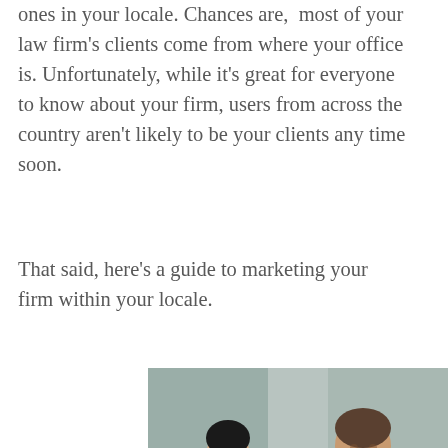ones in your locale. Chances are, most of your law firm's clients come from where your office is. Unfortunately, while it's great for everyone to know about your firm, users from across the country aren't likely to be your clients any time soon.
That said, here's a guide to marketing your firm within your locale.
[Figure (photo): Two men sitting together looking at a laptop computer. One younger man on the left in a dark t-shirt and one older man on the right in a plaid shirt, appearing to be in a professional consultation or meeting.]